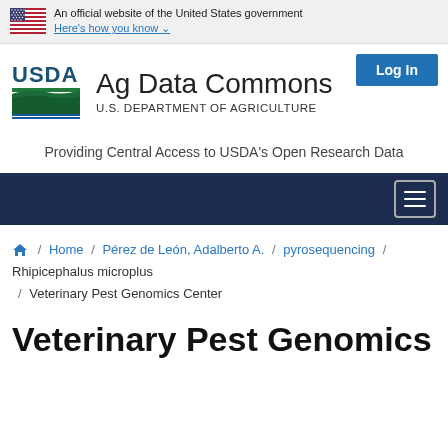An official website of the United States government Here's how you know
[Figure (logo): USDA Ag Data Commons logo with USDA emblem and text 'Ag Data Commons / U.S. DEPARTMENT OF AGRICULTURE']
Providing Central Access to USDA's Open Research Data
Home / Pérez de León, Adalberto A. / pyrosequencing / Rhipicephalus microplus / Veterinary Pest Genomics Center
Veterinary Pest Genomics